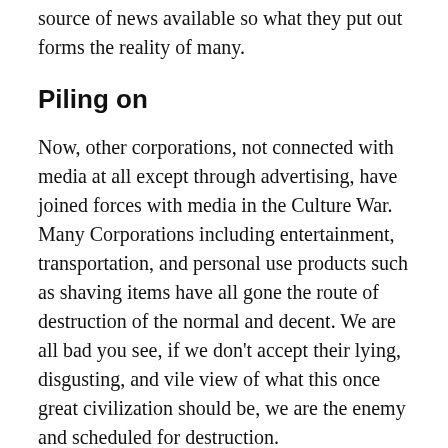source of news available so what they put out forms the reality of many.
Piling on
Now, other corporations, not connected with media at all except through advertising, have joined forces with media in the Culture War. Many Corporations including entertainment, transportation, and personal use products such as shaving items have all gone the route of destruction of the normal and decent. We are all bad you see, if we don't accept their lying, disgusting, and vile view of what this once great civilization should be, we are the enemy and scheduled for destruction.
Leading the enemy forces in this struggle for the survival of all things normal and decent are most likely a few billionaires wise enough to decide for the rest of us how we should live, and we should be so very grateful...